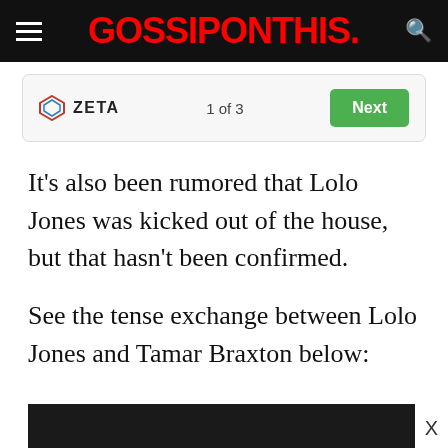GOSSIPONTHIS.
[Figure (screenshot): Zeta ad unit showing logo, '1 of 3' pagination, and a green Next button]
It’s also been rumored that Lolo Jones was kicked out of the house, but that hasn’t been confirmed.
See the tense exchange between Lolo Jones and Tamar Braxton below:
[Figure (screenshot): Dark banner advertisement at bottom of page with X close button]